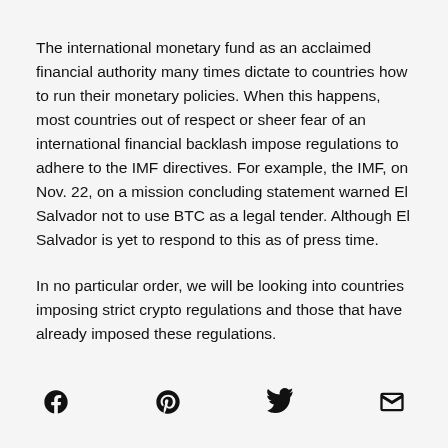The international monetary fund as an acclaimed financial authority many times dictate to countries how to run their monetary policies. When this happens, most countries out of respect or sheer fear of an international financial backlash impose regulations to adhere to the IMF directives. For example, the IMF, on Nov. 22, on a mission concluding statement warned El Salvador not to use BTC as a legal tender. Although El Salvador is yet to respond to this as of press time.
In no particular order, we will be looking into countries imposing strict crypto regulations and those that have already imposed these regulations.
[Figure (infographic): Social sharing icons: Facebook, Pinterest, Twitter, Email]